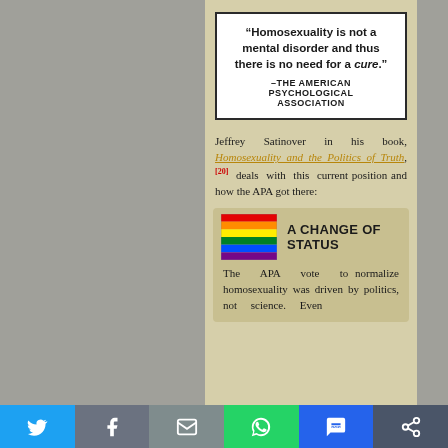“Homosexuality is not a mental disorder and thus there is no need for a cure.” –THE AMERICAN PSYCHOLOGICAL ASSOCIATION
Jeffrey Satinover in his book, Homosexuality and the Politics of Truth,[20] deals with this current position and how the APA got there:
[Figure (infographic): A CHANGE OF STATUS section with rainbow flag image and text: The APA vote to normalize homosexuality was driven by politics, not science. Even]
Social sharing bar with Twitter, Facebook, Email, WhatsApp, SMS, and other sharing icons